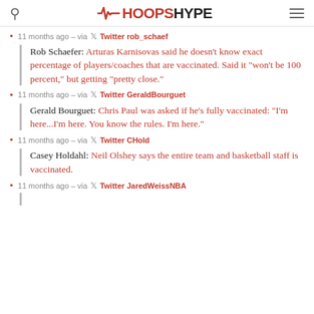HoopsHype
11 months ago – via Twitter rob_schaef
Rob Schaefer: Arturas Karnisovas said he doesn't know exact percentage of players/coaches that are vaccinated. Said it "won't be 100 percent," but getting "pretty close."
11 months ago – via Twitter GeraldBourguet
Gerald Bourguet: Chris Paul was asked if he's fully vaccinated: "I'm here...I'm here. You know the rules. I'm here."
11 months ago – via Twitter CHold
Casey Holdahl: Neil Olshey says the entire team and basketball staff is vaccinated.
11 months ago – via Twitter JaredWeissNBA